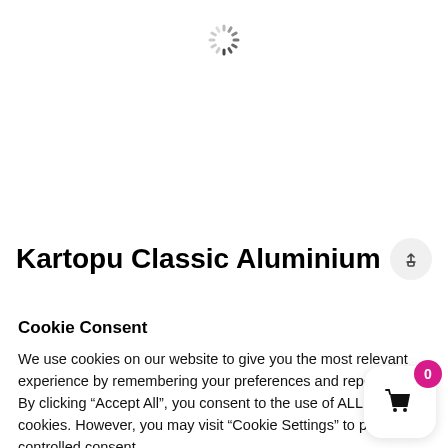[Figure (other): Loading spinner (circular spinner animation indicator) centered near top of page]
Kartopu Classic Aluminium
Cookie Consent
We use cookies on our website to give you the most relevant experience by remembering your preferences and repeat visits. By clicking “Accept All”, you consent to the use of ALL the cookies. However, you may visit “Cookie Settings” to provide a controlled consent.
Cookie Settings
Accept All